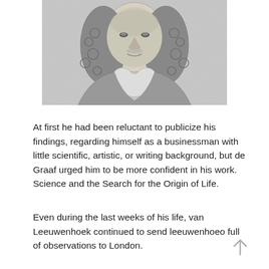[Figure (illustration): Black and white engraving/portrait of a man with long curly hair and a cravat, shown from the chest up.]
At first he had been reluctant to publicize his findings, regarding himself as a businessman with little scientific, artistic, or writing background, but de Graaf urged him to be more confident in his work. Science and the Search for the Origin of Life.
Even during the last weeks of his life, van Leeuwenhoek continued to send leeuwenhoeo full of observations to London.